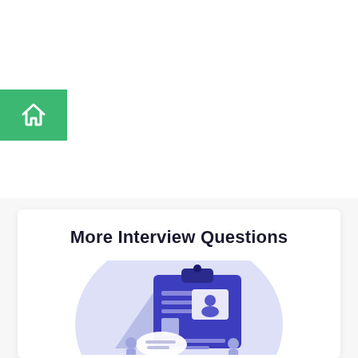[Figure (illustration): Green home/house icon button on left side of page]
More Interview Questions
[Figure (illustration): Interview questions illustration showing a clipboard with a resume/profile document, a person icon, and small figures of people at the bottom, on a light purple circular background]